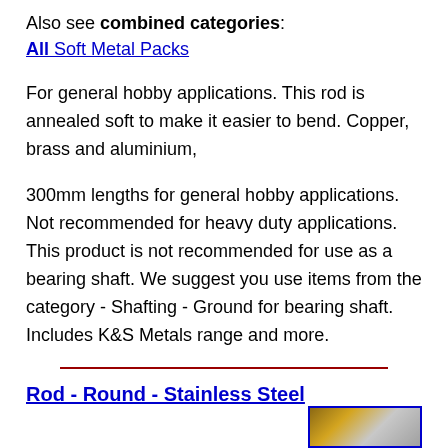Also see combined categories:
All Soft Metal Packs
For general hobby applications. This rod is annealed soft to make it easier to bend. Copper, brass and aluminium,
300mm lengths for general hobby applications. Not recommended for heavy duty applications. This product is not recommended for use as a bearing shaft. We suggest you use items from the category - Shafting - Ground for bearing shaft. Includes K&S Metals range and more.
Rod - Round - Stainless Steel
[Figure (photo): Partial photo of metal rods, gold/silver tones, at bottom right of page]